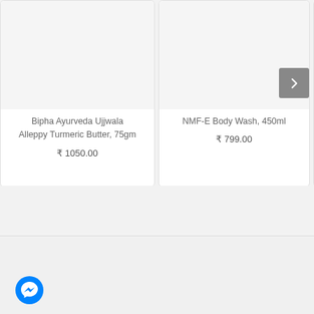[Figure (screenshot): Product card showing Bipha Ayurveda Ujjwala Alleppy Turmeric Butter 75gm with image area and price ₹ 1050.00]
Bipha Ayurveda Ujjwala Alleppy Turmeric Butter, 75gm
₹ 1050.00
[Figure (screenshot): Product card showing NMF-E Body Wash 450ml with image area and price ₹ 799.00]
NMF-E Body Wash, 450ml
₹ 799.00
[Figure (screenshot): Partially visible third product card with arrow navigation button]
[Figure (logo): Facebook Messenger chat button icon (blue circle with lightning bolt/chat icon)]